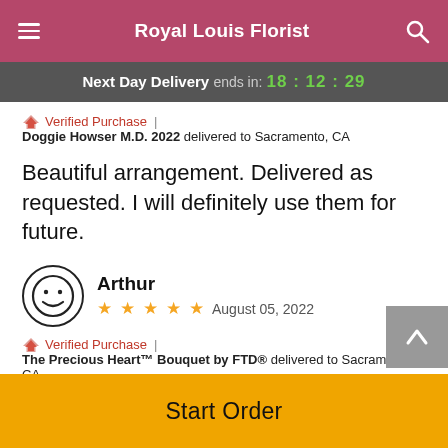Royal Louis Florist
Next Day Delivery ends in: 18:12:29
Verified Purchase | Doggie Howser M.D. 2022 delivered to Sacramento, CA
Beautiful arrangement. Delivered as requested. I will definitely use them for future.
Arthur  ★★★★★  August 05, 2022
Verified Purchase | The Precious Heart™ Bouquet by FTD® delivered to Sacramento, CA
Excellent service. Excellent arrangement. Would order from them again.
Start Order